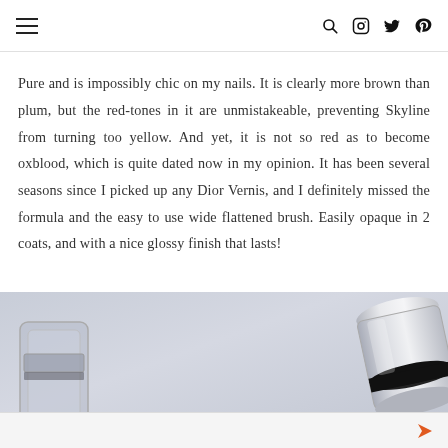[hamburger menu] [search] [instagram] [twitter] [pinterest]
Pure and is impossibly chic on my nails. It is clearly more brown than plum, but the red-tones in it are unmistakeable, preventing Skyline from turning too yellow. And yet, it is not so red as to become oxblood, which is quite dated now in my opinion. It has been several seasons since I picked up any Dior Vernis, and I definitely missed the formula and the easy to use wide flattened brush. Easily opaque in 2 coats, and with a nice glossy finish that lasts!
[Figure (photo): Close-up photo of two Dior Vernis nail polish bottles against a light blue-grey background, showing the silvery metallic caps and transparent lower portions of the bottles.]
[advertisement]